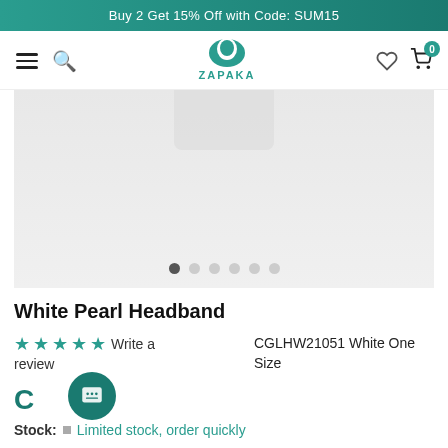Buy 2 Get 15% Off with Code: SUM15
[Figure (logo): ZAPAKA brand logo with teal silhouette figure and floral motifs, text ZAPAKA below]
[Figure (photo): Product photo area showing white pearl headband on light grey background with 6 navigation dots below]
White Pearl Headband
☆☆☆☆☆ Write a review
CGLHW21051 White One Size
C
Stock:  Limited stock, order quickly